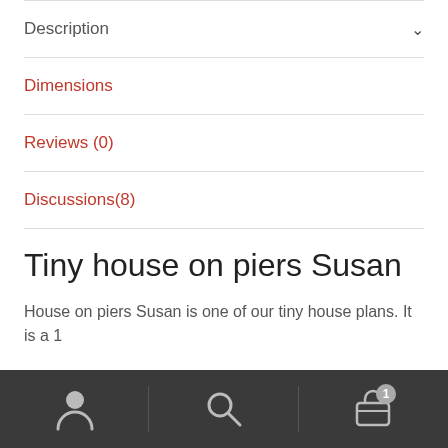Description
Dimensions
Reviews (0)
Discussions(8)
Tiny house on piers Susan
House on piers Susan is one of our tiny house plans. It is a 1
Navigation bar with user, search, and cart (1 item) icons